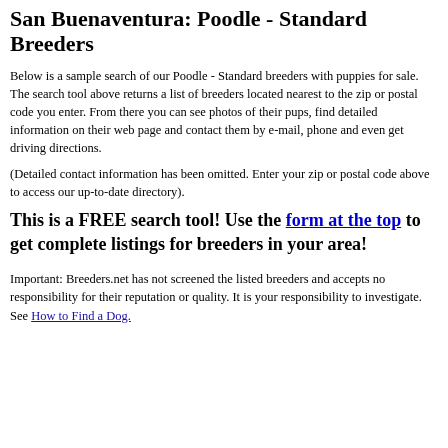San Buenaventura: Poodle - Standard Breeders
Below is a sample search of our Poodle - Standard breeders with puppies for sale. The search tool above returns a list of breeders located nearest to the zip or postal code you enter. From there you can see photos of their pups, find detailed information on their web page and contact them by e-mail, phone and even get driving directions.
(Detailed contact information has been omitted. Enter your zip or postal code above to access our up-to-date directory).
This is a FREE search tool! Use the form at the top to get complete listings for breeders in your area!
Important: Breeders.net has not screened the listed breeders and accepts no responsibility for their reputation or quality. It is your responsibility to investigate. See How to Find a Dog.